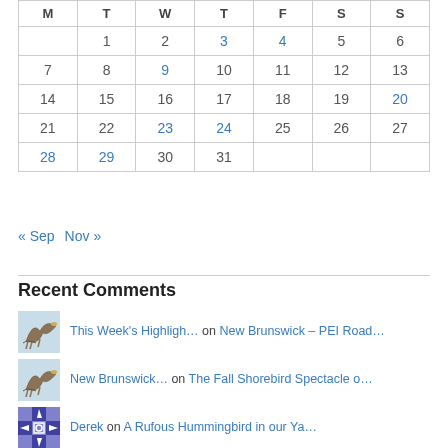| M | T | W | T | F | S | S |
| --- | --- | --- | --- | --- | --- | --- |
|  | 1 | 2 | 3 | 4 | 5 | 6 |
| 7 | 8 | 9 | 10 | 11 | 12 | 13 |
| 14 | 15 | 16 | 17 | 18 | 19 | 20 |
| 21 | 22 | 23 | 24 | 25 | 26 | 27 |
| 28 | 29 | 30 | 31 |  |  |  |
« Sep   Nov »
Recent Comments
This Week's Highligh… on New Brunswick – PEI Road…
New Brunswick… on The Fall Shorebird Spectacle o…
Derek on A Rufous Hummingbird in our Ya…
Caroline Rider on A Rufous Hummingbird in our Ya…